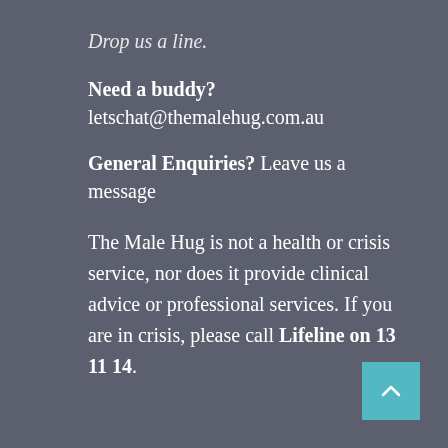Drop us a line.
Need a buddy? letschat@themalehug.com.au
General Enquiries? Leave us a message
The Male Hug is not a health or crisis service, nor does it provide clinical advice or professional services. If you are in crisis, please call Lifeline on 13 11 14.